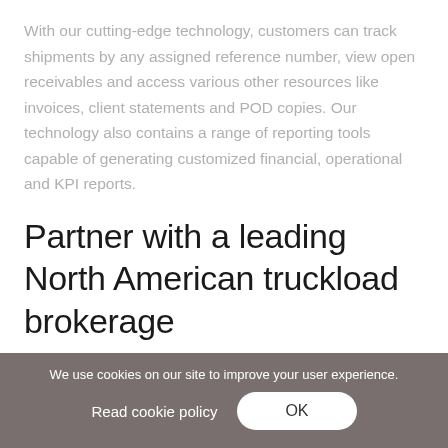With our cutting-edge technology, customers can track shipments by any assigned reference number, view open receivables and access various other resources like invoices, client statements and POD copies. Our technology also contains a range of reporting tools capable of generating customized financial, operational and KPI reports.
Partner with a leading North American truckload brokerage
Whether you're moving full truckloads or partial shipments, the dedicated truckload logistics team at AIT
We use cookies on our site to improve your user experience.